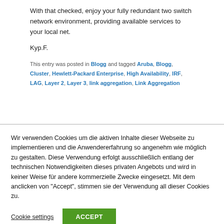With that checked, enjoy your fully redundant two switch network environment, providing available services to your local net.
Kyp.F.
This entry was posted in Blogg and tagged Aruba, Blogg, Cluster, Hewlett-Packard Enterprise, High Availability, IRF, LAG, Layer 2, Layer 3, link aggregation, Link Aggregation
Wir verwenden Cookies um die aktiven Inhalte dieser Webseite zu implementieren und die Anwendererfahrung so angenehm wie möglich zu gestalten. Diese Verwendung erfolgt ausschließlich entlang der technischen Notwendigkeiten dieses privaten Angebots und wird in keiner Weise für andere kommerzielle Zwecke eingesetzt. Mit dem anclicken von "Accept", stimmen sie der Verwendung all dieser Cookies zu.
Cookie settings
ACCEPT